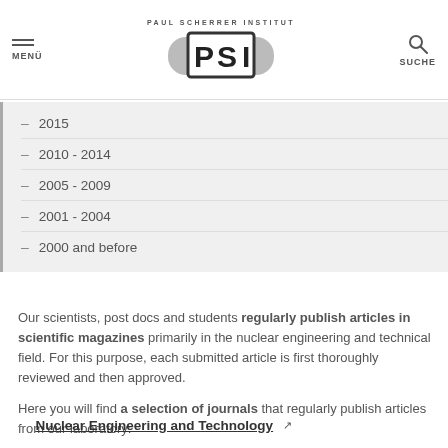PAUL SCHERRER INSTITUT PSI | MENÜ | SUCHE
– 2015
– 2010 - 2014
– 2005 - 2009
– 2001 - 2004
– 2000 and before
Our scientists, post docs and students regularly publish articles in scientific magazines primarily in the nuclear engineering and technical field. For this purpose, each submitted article is first thoroughly reviewed and then approved.
Here you will find a selection of journals that regularly publish articles from our laboratory:
– Nuclear Engineering and Technology